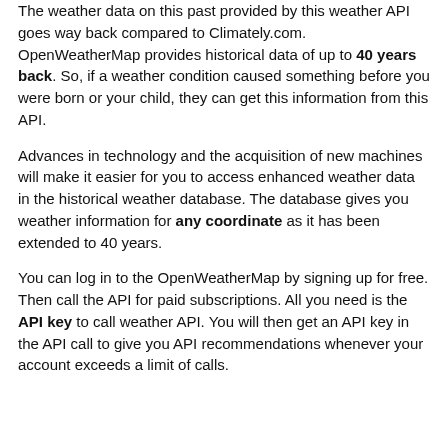The weather data on this past provided by this weather API goes way back compared to Climately.com. OpenWeatherMap provides historical data of up to 40 years back. So, if a weather condition caused something before you were born or your child, they can get this information from this API.
Advances in technology and the acquisition of new machines will make it easier for you to access enhanced weather data in the historical weather database. The database gives you weather information for any coordinate as it has been extended to 40 years.
You can log in to the OpenWeatherMap by signing up for free. Then call the API for paid subscriptions. All you need is the API key to call weather API. You will then get an API key in the API call to give you API recommendations whenever your account exceeds a limit of calls.